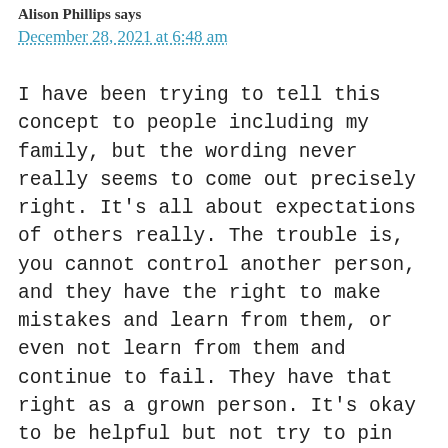Alison Phillips says
December 28, 2021 at 6:48 am
I have been trying to tell this concept to people including my family, but the wording never really seems to come out precisely right. It's all about expectations of others really. The trouble is, you cannot control another person, and they have the right to make mistakes and learn from them, or even not learn from them and continue to fail. They have that right as a grown person. It's okay to be helpful but not try to pin who you think they should be, or have the capacity to be on them, because it's not fair. We should want the best for them, we should be there for them, but never